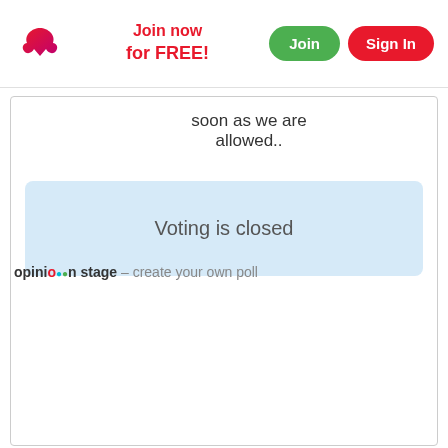Join now for FREE! | Join | Sign In
soon as we are allowed..
Voting is closed
opinion stage - create your own poll